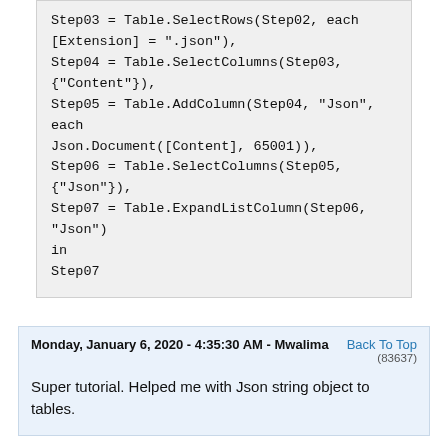Step03 = Table.SelectRows(Step02, each [Extension] = ".json"),
Step04 = Table.SelectColumns(Step03, {"Content"}),
Step05 = Table.AddColumn(Step04, "Json", each Json.Document([Content], 65001)),
Step06 = Table.SelectColumns(Step05, {"Json"}),
Step07 = Table.ExpandListColumn(Step06, "Json")
in
Step07
Monday, January 6, 2020 - 4:35:30 AM - Mwalima
Back To Top
(83637)
Super tutorial. Helped me with Json string object to tables.
Friday, December 20, 2019 - 4:42:58 PM - sebastiaan
Back To Top
(83486)
Hi,